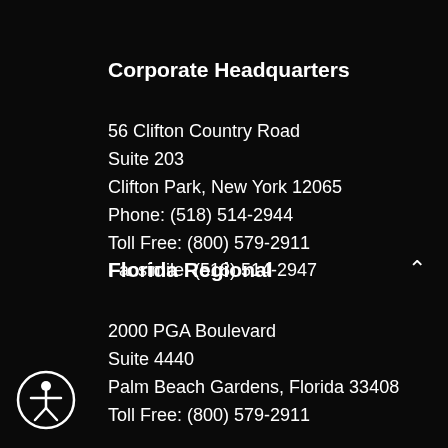Corporate Headquarters
56 Clifton Country Road
Suite 203
Clifton Park, New York 12065
Phone: (518) 514-2944
Toll Free: (800) 579-2911
Facsimile: (518) 514-2947
Florida Regional
2000 PGA Boulevard
Suite 4440
Palm Beach Gardens, Florida 33408
Toll Free: (800) 579-2911